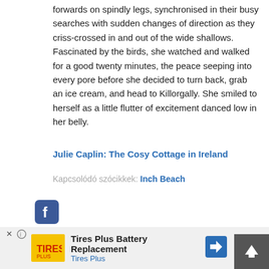forwards on spindly legs, synchronised in their busy searches with sudden changes of direction as they criss-crossed in and out of the wide shallows. Fascinated by the birds, she watched and walked for a good twenty minutes, the peace seeping into every pore before she decided to turn back, grab an ice cream, and head to Killorgally. She smiled to herself as a little flutter of excitement danced low in her belly.
Julie Caplin: The Cosy Cottage in Ireland
Kapcsolódó szócikkek: Inch Beach
[Figure (logo): Facebook share button icon, blue rounded square with white 'f' letter]
Veruc
4 hónapja
[Figure (infographic): Advertisement bar: Tires Plus Battery Replacement, Tires Plus with logo and navigation arrow icon]